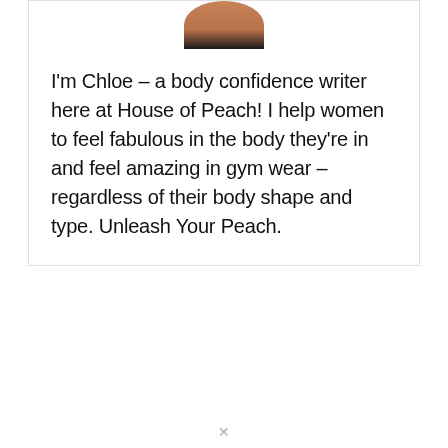[Figure (photo): Partial photo of a person (Chloe) cropped at the top, showing hair and shoulders against a white background]
I'm Chloe – a body confidence writer here at House of Peach! I help women to feel fabulous in the body they're in and feel amazing in gym wear – regardless of their body shape and type. Unleash Your Peach.